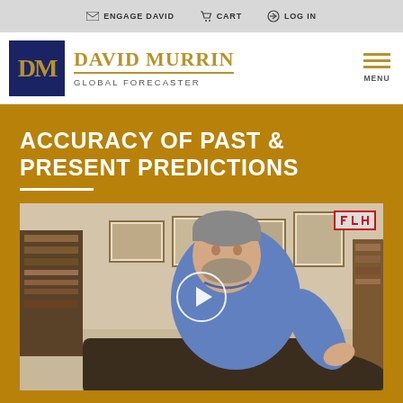ENGAGE DAVID  CART  LOG IN
[Figure (logo): David Murrin Global Forecaster logo with DM monogram in navy blue box and gold text]
ACCURACY OF PAST & PRESENT PREDICTIONS
[Figure (screenshot): Video thumbnail showing a man in a blue shirt seated on a sofa gesturing, with a play button overlay and FLH badge in top right corner]